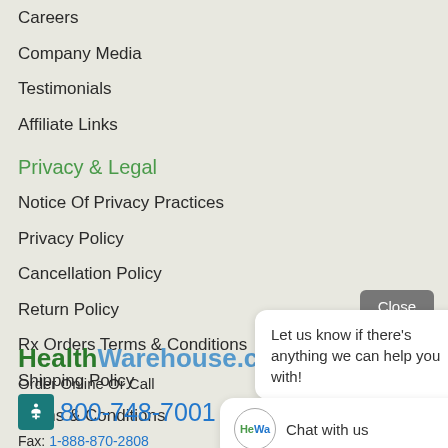Careers
Company Media
Testimonials
Affiliate Links
Privacy & Legal
Notice Of Privacy Practices
Privacy Policy
Cancellation Policy
Return Policy
Rx Orders Terms & Conditions
Shipping Policy
Terms & Conditions
HealthWarehouse.co
Order Online Or Call
800-748-7001
Fax: 1-888-870-2808
7107 Industrial Rd.